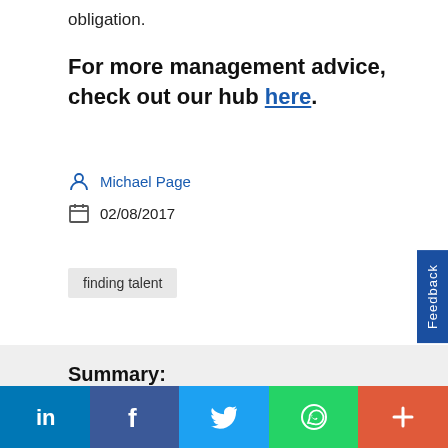obligation.
For more management advice, check out our hub here.
Michael Page
02/08/2017
finding talent
Summary:
In a brief space of time, you need to get through a lot to vet a potential hire. Make